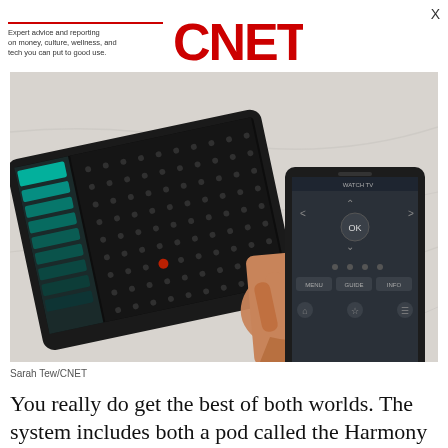Expert advice and reporting on money, culture, wellness, and tech you can put to good use.
[Figure (logo): CNET logo in red bold letters]
[Figure (photo): A hand holding a Samsung smartphone running the Harmony remote control app, with a tablet also showing the Harmony app visible in the background, both placed on a marble surface.]
Sarah Tew/CNET
You really do get the best of both worlds. The system includes both a pod called the Harmony Hub (also sold separately for $100),